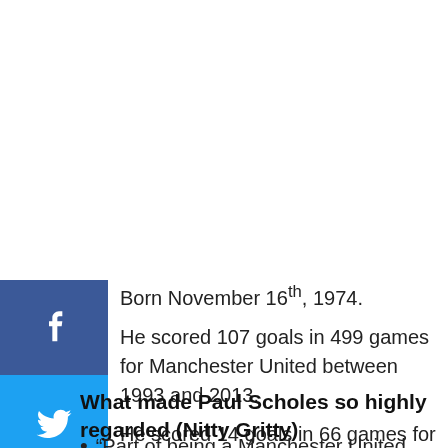Born November 16th, 1974.
He scored 107 goals in 499 games for Manchester United between 1993 and 2013.
He scored 14 goals in 66 games for England between 1997 and 2004.
Despite being a midfielder, he scored plenty of goals!
What made Paul Scholes so highly regarded (Nitty Gritty)
“Part of being a Manchester United player under